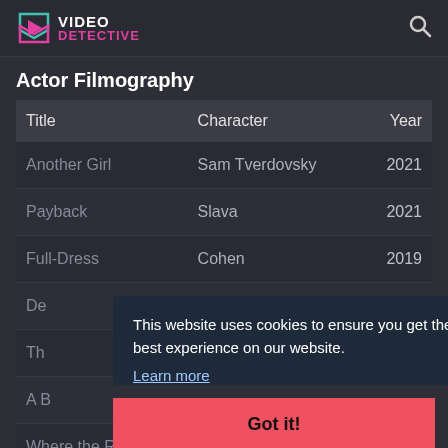VIDEO DETECTIVE (logo) + search icon
Actor Filmography
| Title | Character | Year |
| --- | --- | --- |
| Another Girl | Sam Tverdovsky | 2021 |
| Payback | Slava | 2021 |
| Full-Dress | Cohen | 2019 |
| De |  |  |
| Th |  |  |
| A B |  |  |
| Where the Road | Buffin | 2014 |
This website uses cookies to ensure you get the best experience on our website.
Learn more
Got it!